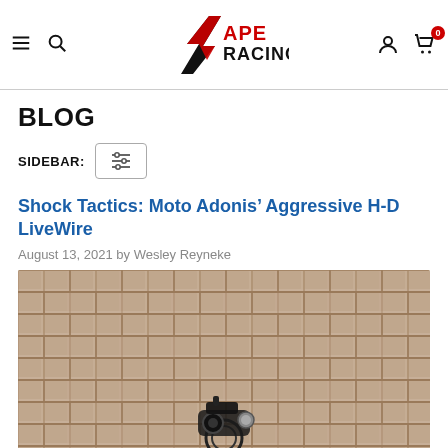APE RACING — navigation header with hamburger menu, search, logo, account, and cart icons
BLOG
SIDEBAR: [filter/settings icon button]
Shock Tactics: Moto Adonis' Aggressive H-D LiveWire
August 13, 2021 by Wesley Reyneke
[Figure (photo): Motorcycle parked in front of a stone brick wall, viewed at close range. A dark motorcycle with round headlight is partially visible against the textured beige/tan brick wall.]